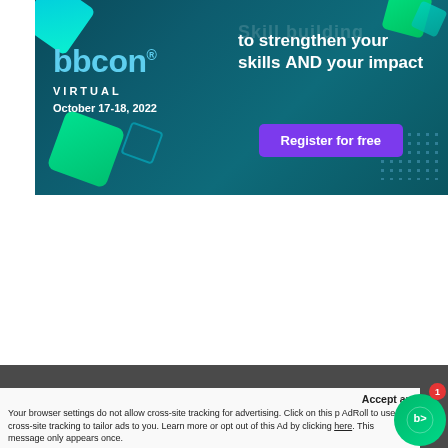[Figure (illustration): bbcon Virtual advertisement banner with teal/dark background, geometric diamond shapes, bbcon logo, event date October 17-18 2022, tagline 'to strengthen your skills AND your impact', and a purple 'Register for free' button]
Accept an
Your browser settings do not allow cross-site tracking for advertising. Click on this p AdRoll to use cross-site tracking to tailor ads to you. Learn more or opt out of this Ad by clicking here. This message only appears once.